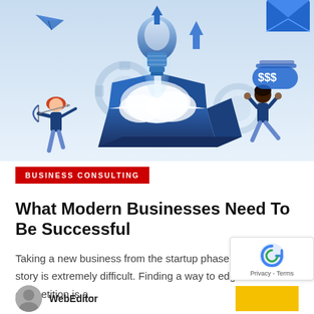[Figure (illustration): Business consulting illustration showing a blue open box with a glowing light bulb launching upward, people celebrating, paper airplanes, arrows, dollar signs, and gears on a light blue background.]
BUSINESS CONSULTING
What Modern Businesses Need To Be Successful
Taking a new business from the startup phase to a success story is extremely difficult. Finding a way to edge out competition is a...
WebEditor